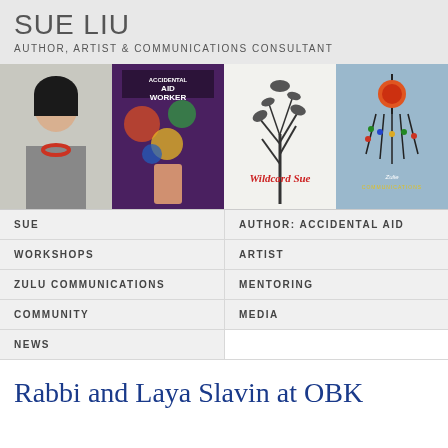SUE LIU
AUTHOR, ARTIST & COMMUNICATIONS CONSULTANT
[Figure (photo): Four images in a horizontal strip: a photo of Sue Liu wearing a red necklace; a book cover 'Accidental Aid Worker'; a 'Wildcard Sue' illustration with red text; a Zulu Communications logo image]
SUE
AUTHOR: ACCIDENTAL AID
WORKSHOPS
ARTIST
ZULU COMMUNICATIONS
MENTORING
COMMUNITY
MEDIA
NEWS
Rabbi and Laya Slavin at OBK